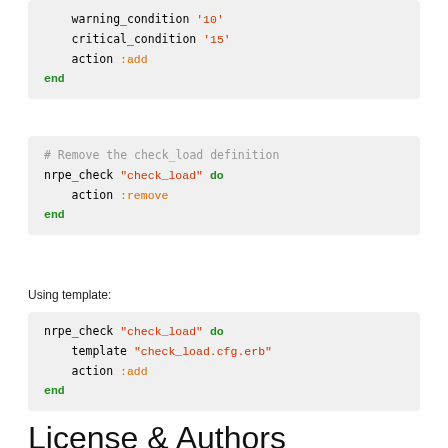[Figure (screenshot): Code block showing warning_condition '10', critical_condition '15', action :add, end]
[Figure (screenshot): Code block: # Remove the check_load definition; nrpe_check "check_load" do; action :remove; end]
Using template:
[Figure (screenshot): Code block: nrpe_check "check_load" do; template "check_load.cfg.erb"; action :add; end]
License & Authors